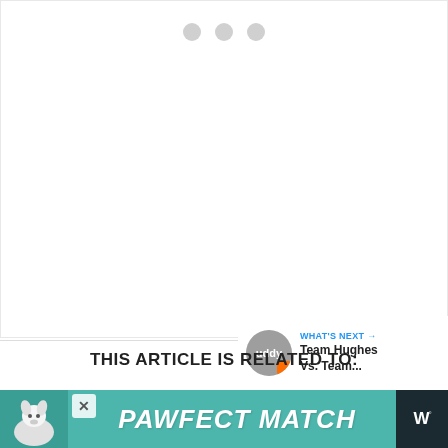[Figure (screenshot): Loading indicator with three gray dots on a white content area background]
[Figure (other): Heart/like button (blue circle with white heart icon), count badge showing 1, and share button (white circle with share icon)]
[Figure (other): What's Next panel showing avatar and text: WHAT'S NEXT → Team Hughes Vs. Team...]
THIS ARTICLE IS RELATED TO:
[Figure (other): Advertisement banner: PAWFECT MATCH on teal background with dog image, close button, and W logo]